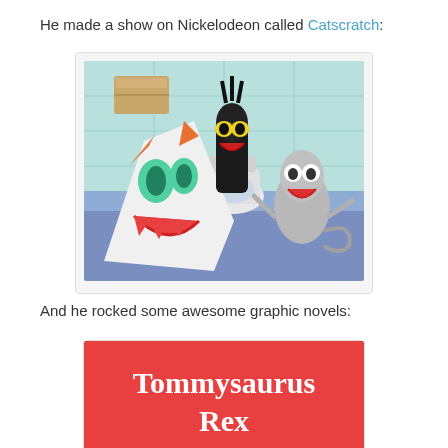He made a show on Nickelodeon called Catscratch:
[Figure (illustration): Scene from the Nickelodeon animated show Catscratch featuring three cartoon cat characters reacting with exaggerated surprised expressions near a toilet in a bathroom setting with blue and green tones.]
And he rocked some awesome graphic novels:
[Figure (illustration): Cover of a graphic novel titled 'Tommysaurus Rex' with white serif text on a red background.]